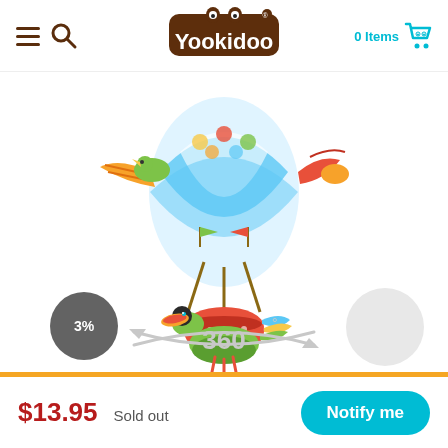Yookidoo — 0 Items
[Figure (photo): Colorful baby mobile toy featuring a hot air balloon with blue and white stripes, decorated with tropical birds, flags, and hanging basket with a toucan, displayed against a white background. A 360-degree rotation indicator is shown below the product.]
3%
360°
$13.95  Sold out
Notify me